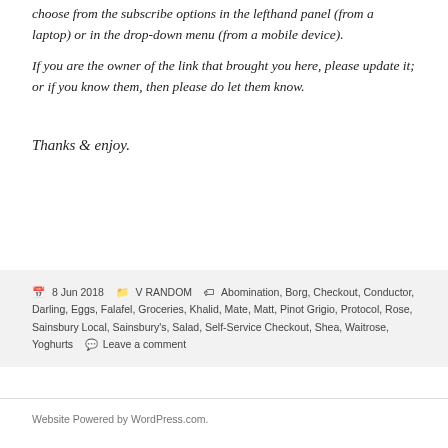choose from the subscribe options in the lefthand panel (from a laptop) or in the drop-down menu (from a mobile device).
If you are the owner of the link that brought you here, please update it; or if you know them, then please do let them know.
Thanks & enjoy.
8 Jun 2018  V RANDOM  Abomination, Borg, Checkout, Conductor, Darling, Eggs, Falafel, Groceries, Khalid, Mate, Matt, Pinot Grigio, Protocol, Rose, Sainsbury Local, Sainsbury's, Salad, Self-Service Checkout, Shea, Waitrose, Yoghurts  Leave a comment
Website Powered by WordPress.com.